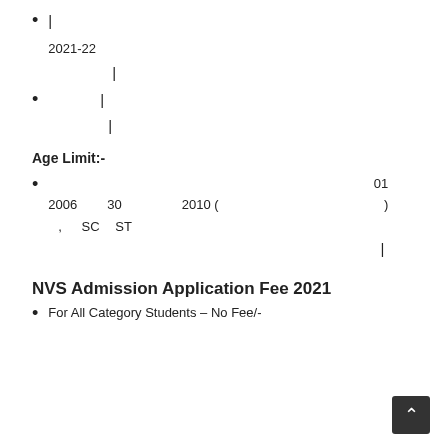| 2021-22 |
| |
Age Limit:-
01 2006 30 2010 ( ) , SC ST |
NVS Admission Application Fee 2021
For All Category Students – No Fee/-